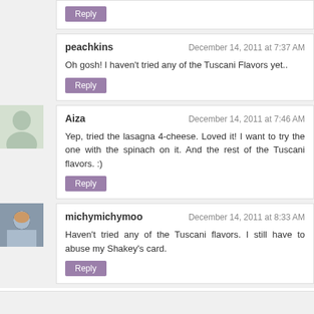Reply
peachkins — December 14, 2011 at 7:37 AM
Oh gosh! I haven't tried any of the Tuscani Flavors yet..
Reply
Aiza — December 14, 2011 at 7:46 AM
Yep, tried the lasagna 4-cheese. Loved it! I want to try the one with the spinach on it. And the rest of the Tuscani flavors. :)
Reply
michymichymoo — December 14, 2011 at 8:33 AM
Haven't tried any of the Tuscani flavors. I still have to abuse my Shakey's card.
Reply